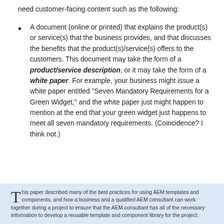need customer-facing content such as the following:
A document (online or printed) that explains the product(s) or service(s) that the business provides, and that discusses the benefits that the product(s)/service(s) offers to the customers. This document may take the form of a product/service description, or it may take the form of a white paper. For example, your business might issue a white paper entitled “Seven Mandatory Requirements for a Green Widget,” and the white paper just might happen to mention at the end that your green widget just happens to meet all seven mandatory requirements. (Coincidence? I think not.)
This paper described many of the best practices for using AEM templates and components, and how a business and a qualified AEM consultant can work together during a project to ensure that the AEM consultant has all of the necessary information to develop a reusable template and component library for the project.